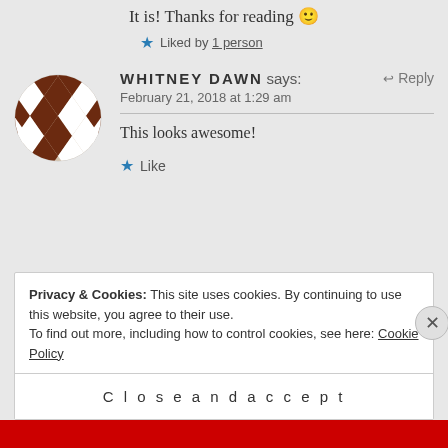It is! Thanks for reading 🙂
★ Liked by 1 person
WHITNEY DAWN says: February 21, 2018 at 1:29 am
This looks awesome!
★ Like
Privacy & Cookies: This site uses cookies. By continuing to use this website, you agree to their use. To find out more, including how to control cookies, see here: Cookie Policy
Close and accept